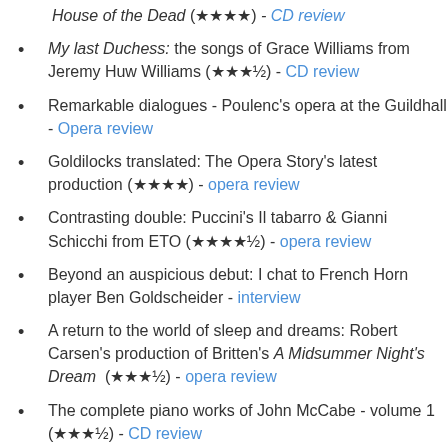House of the Dead (★★★★) - CD review
My last Duchess: the songs of Grace Williams from Jeremy Huw Williams (★★★½) - CD review
Remarkable dialogues - Poulenc's opera at the Guildhall - Opera review
Goldilocks translated: The Opera Story's latest production (★★★★) - opera review
Contrasting double: Puccini's Il tabarro & Gianni Schicchi from ETO (★★★★½) - opera review
Beyond an auspicious debut: I chat to French Horn player Ben Goldscheider - interview
A return to the world of sleep and dreams: Robert Carsen's production of Britten's A Midsummer Night's Dream  (★★★½) - opera review
The complete piano works of John McCabe - volume 1 (★★★½) - CD review